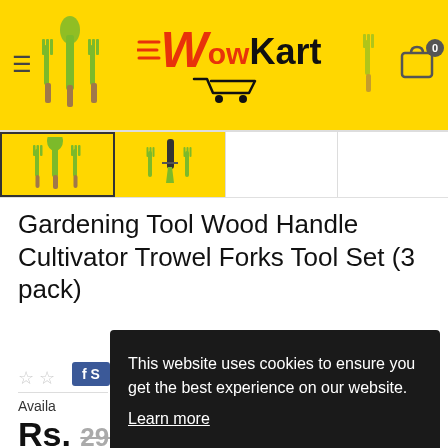[Figure (screenshot): WowKart e-commerce website header with yellow background, hamburger menu, gardening tools decorative icons, WowKart logo with shopping cart icon, and cart button with 0 badge]
[Figure (screenshot): Thumbnail image strip showing 4 product images of gardening tool set, first two visible with yellow background]
Gardening Tool Wood Handle Cultivator Trowel Forks Tool Set (3 pack)
f s
Availa
Rs. 290.00
This website uses cookies to ensure you get the best experience on our website.
Learn more
Got it!